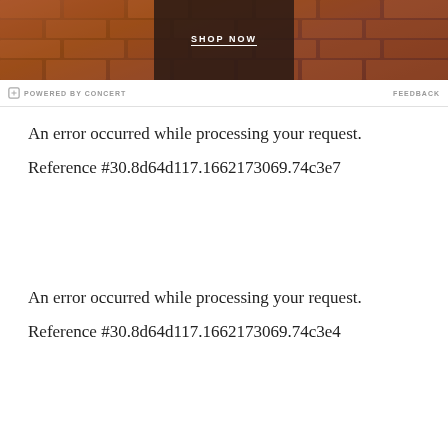[Figure (photo): Banner image with brick wall background and dark clothing. Shows 'SHOP NOW' text button centered on the image.]
POWERED BY CONCERT    FEEDBACK
An error occurred while processing your request.
Reference #30.8d64d117.1662173069.74c3e7
An error occurred while processing your request.
Reference #30.8d64d117.1662173069.74c3e4